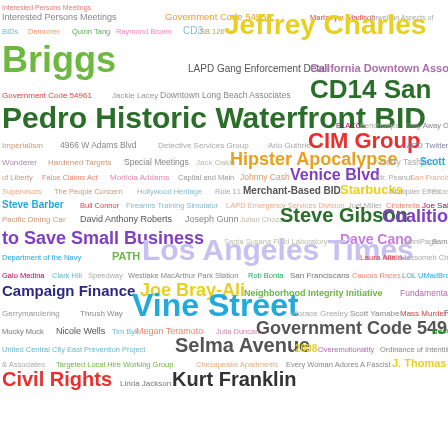[Figure (infographic): Word cloud containing various government, legal, and civic terms in different colors and font sizes. Larger words include 'Jeffrey Charles', 'Briggs', 'San Pedro Historic Waterfront BID', 'CIM Group', 'Hipster Apocalypse', 'Venice Blvd', 'Steve Gibson Coalition to Save Small Business', 'Los Angeles Times', 'Vine Street', 'Government Code 54959', 'Selma Avenue', 'Civil Rights', 'Kurt Franklin', and many others in varying colors including green, orange, yellow, purple, teal, pink, and red.]